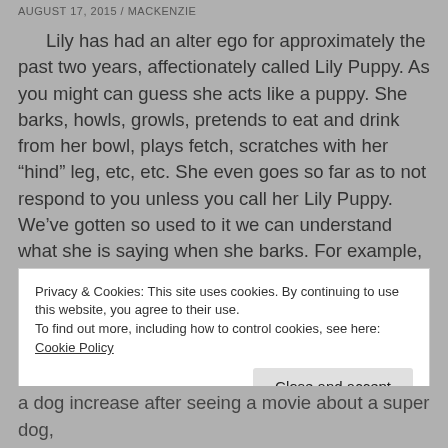AUGUST 17, 2015 / MACKENZIE
Lily has had an alter ego for approximately the past two years, affectionately called Lily Puppy. As you might can guess she acts like a puppy. She barks, howls, growls, pretends to eat and drink from her bowl, plays fetch, scratches with her “hind” leg, etc, etc. She even goes so far as to not respond to you unless you call her Lily Puppy. We’ve gotten so used to it we can understand what she is saying when she barks. For example, I’ll say, “Lily Puppy, would you like to go outside?” Lily will respond with a bark that is in the tone of an affirmation.
Privacy & Cookies: This site uses cookies. By continuing to use this website, you agree to their use.
To find out more, including how to control cookies, see here: Cookie Policy
a dog increase after seeing a movie about a super dog,